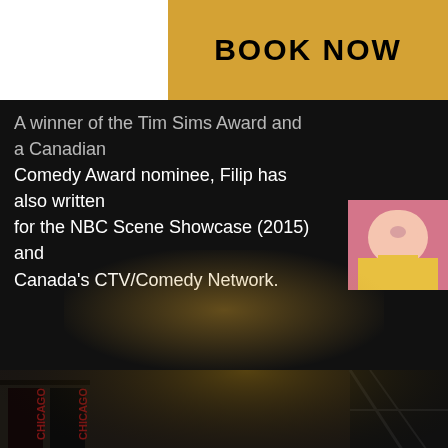BOOK NOW
A winner of the Tim Sims Award and a Canadian Comedy Award nominee, Filip has also written for the NBC Scene Showcase (2015) and Canada's CTV/Comedy Network.
[Figure (photo): Small portrait photo of Filip in yellow top]
[Figure (photo): Street scene showing Chicago musical marquees, Ambassador theatre, yellow taxis, and a person posing in Times Square area]